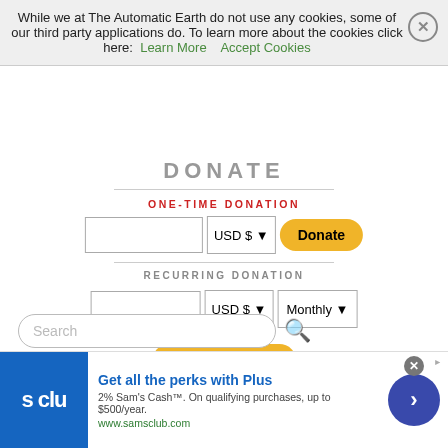While we at The Automatic Earth do not use any cookies, some of our third party applications do. To learn more about the cookies click here: Learn More   Accept Cookies
DONATE
ONE-TIME DONATION
[Figure (screenshot): One-time donation form with amount input, USD $ currency selector, and Donate button]
RECURRING DONATION
[Figure (screenshot): Recurring donation form with amount input, USD $ currency selector, Monthly frequency selector, and Subscribe button]
CANCEL RECURRING DONATION
CLICK HERE TO DONATE BY CHECK OR MONEY ORDER
[Figure (screenshot): Search input box with magnifying glass icon]
[Figure (screenshot): Sam's Club advertisement banner: Get all the perks with Plus. 2% Sam's Cash™. On qualifying purchases, up to $500/year. www.samsclub.com]